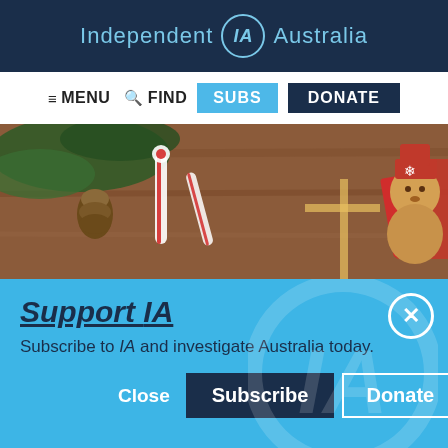Independent IA Australia
≡ MENU  🔍 FIND  SUBS  DONATE
[Figure (photo): Christmas decorations on a wooden surface: candy canes, pine cones, pine branches, a red gift box, and a gingerbread snowman cookie]
Support IA
Subscribe to IA and investigate Australia today.
Close  Subscribe  Donate
Twitter  Facebook  LinkedIn  Flipboard  Link  Plus